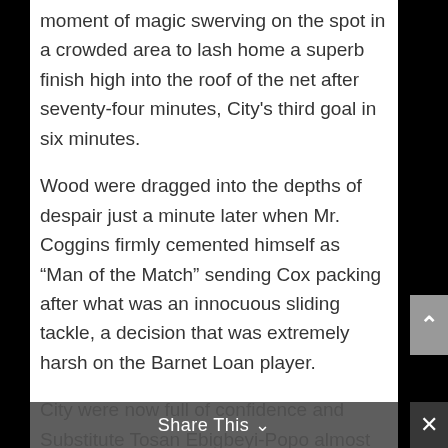moment of magic swerving on the spot in a crowded area to lash home a superb finish high into the roof of the net after seventy-four minutes, City's third goal in six minutes.
Wood were dragged into the depths of despair just a minute later when Mr. Coggins firmly cemented himself as “Man of the Match” sending Cox packing after what was an innocuous sliding tackle, a decision that was extremely harsh on the Barnet Loan player.
City were now full of confidence and Substitute Tosan Ebigbeyi-Popo almost added to Wood’s misery after a quickly taken free kick.   Jordan saved well to keep the scoreline at 1 – 3, which did little to hide Wood boss Ian Allinson’s
Share This